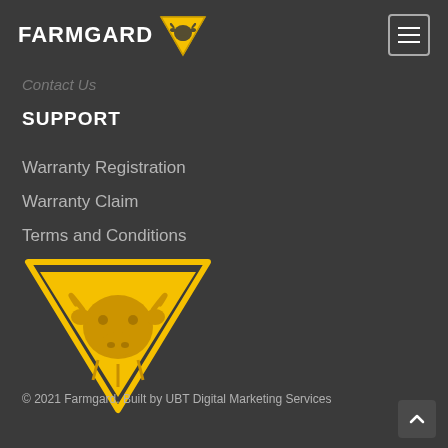[Figure (logo): Farmgard logo with yellow downward-pointing triangle containing a bull head silhouette, with white bold text FARMGARD]
Contact Us
SUPPORT
Warranty Registration
Warranty Claim
Terms and Conditions
[Figure (logo): Large Farmgard yellow bull-in-triangle logo]
© 2021 Farmgard. Built by UBT Digital Marketing Services